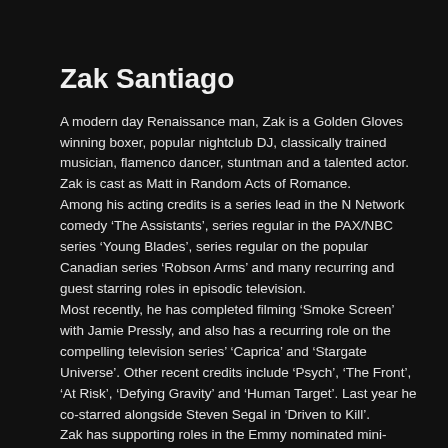Zak Santiago
A modern day Renaissance man, Zak is a Golden Gloves winning boxer, popular nightclub DJ, classically trained musician, flamenco dancer, stuntman and a talented actor. Zak is cast as Matt in Random Acts of Romance.
Among his acting credits is a series lead in the N Network comedy ‘The Assistants’, series regular in the PAX/NBC series ‘Young Blades’, series regular on the popular Canadian series ‘Robson Arms’ and many recurring and guest starring roles in episodic television.
Most recently, he has completed filming ‘Smoke Screen’ with Jamie Pressly, and also has a recurring role on the compelling television series’ ‘Caprica’ and ‘Stargate Universe’. Other recent credits include ‘Psych’, ‘The Front’, ‘At Risk’, ‘Defying Gravity’ and ‘Human Target’. Last year he co-starred alongside Steven Segal in ‘Driven to Kill’.
Zak has supporting roles in the Emmy nominated mini-series ‘Alice’, and in the MOW ‘A Girl Like Me: The Gwen Araujo